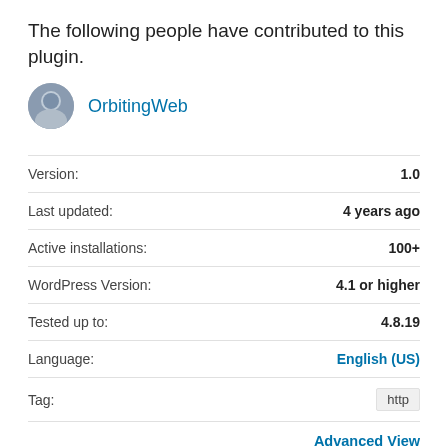The following people have contributed to this plugin.
OrbitingWeb
| Field | Value |
| --- | --- |
| Version: | 1.0 |
| Last updated: | 4 years ago |
| Active installations: | 100+ |
| WordPress Version: | 4.1 or higher |
| Tested up to: | 4.8.19 |
| Language: | English (US) |
| Tag: | http |
Advanced View